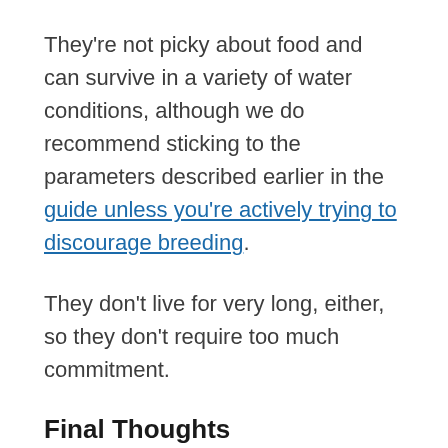They're not picky about food and can survive in a variety of water conditions, although we do recommend sticking to the parameters described earlier in the guide unless you're actively trying to discourage breeding.
They don't live for very long, either, so they don't require too much commitment.
Final Thoughts
Malaysian Trumpet snails are tiny, invasive